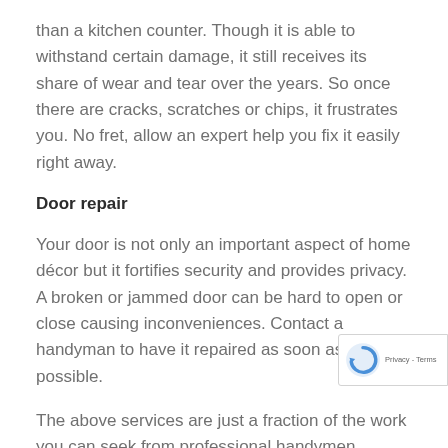than a kitchen counter. Though it is able to withstand certain damage, it still receives its share of wear and tear over the years. So once there are cracks, scratches or chips, it frustrates you. No fret, allow an expert help you fix it easily right away.
Door repair
Your door is not only an important aspect of home décor but it fortifies security and provides privacy. A broken or jammed door can be hard to open or close causing inconveniences. Contact a handyman to have it repaired as soon as possible.
The above services are just a fraction of the work you can seek from professional handymen. Others jobs on the list are drywall repair, painting faucet, repair, electrical repair, deck, and patio repair among other. Contact an excellent Singapore handyman today for